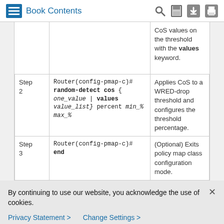Book Contents
|  | Command | Purpose |
| --- | --- | --- |
|  | CoS values on the threshold with the values keyword. |  |
| Step 2 | Router(config-pmap-c)# random-detect cos { one_value | values value_list} percent min_% max_% | Applies CoS to a WRED-drop threshold and configures the threshold percentage. |
| Step 3 | Router(config-pmap-c)# end | (Optional) Exits policy map class configuration mode. |
By continuing to use our website, you acknowledge the use of cookies.
Privacy Statement > Change Settings >